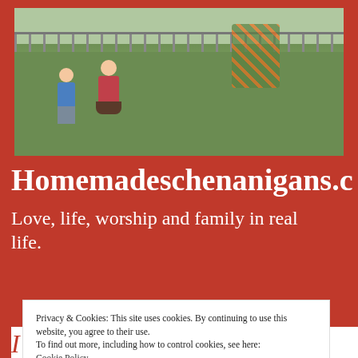[Figure (photo): Two children running in a grassy yard with a fence and orange flowers in the background]
Homemadeschenanigans.c
Love, life, worship and family in real life.
Privacy & Cookies: This site uses cookies. By continuing to use this website, you agree to their use.
To find out more, including how to control cookies, see here:
Cookie Policy
Close and accept
I Know it's Hot in Baltimore